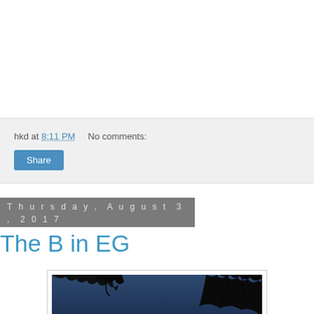hkd at 8:11 PM    No comments:
Share
Thursday, August 3, 2017
The B in EG
[Figure (photo): Dark night sky photo with tree silhouettes visible in upper portion]